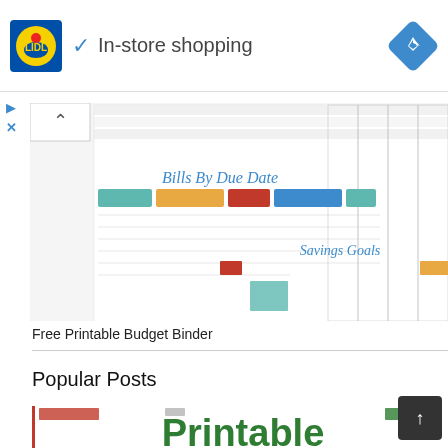[Figure (logo): Lidl logo with yellow circle and red text on blue square background]
✓ In-store shopping
[Figure (logo): Blue diamond navigation/directions icon]
[Figure (screenshot): Blurred screenshot of a Free Printable Budget Binder showing Bills By Due Date and Savings Goals spreadsheet worksheets with colored headers and table rows]
Free Printable Budget Binder
Popular Posts
[Figure (screenshot): Bottom portion of a printable document page showing the word Printable in large green text with red border on left side]